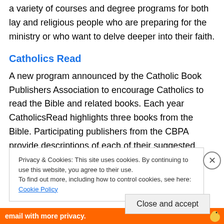a variety of courses and degree programs for both lay and religious people who are preparing for the ministry or who want to delve deeper into their faith.
Catholics Read
A new program announced by the Catholic Book Publishers Association to encourage Catholics to read the Bible and related books. Each year CatholicsRead highlights three books from the Bible. Participating publishers from the CBPA provide descriptions of each of their suggested titles and information on how to order
Privacy & Cookies: This site uses cookies. By continuing to use this website, you agree to their use.
To find out more, including how to control cookies, see here: Cookie Policy
Close and accept
email with more privacy.